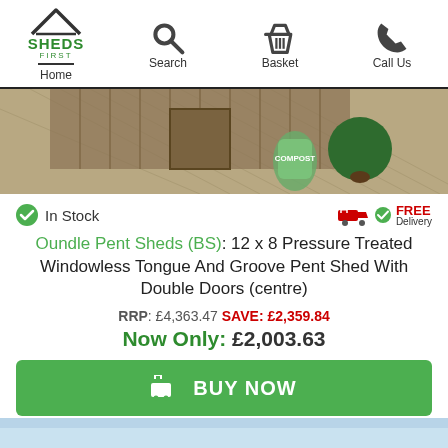Home | Search | Basket | Call Us
[Figure (photo): Partial view of a garden shed with wooden decking, a bag of garden material and a dark green topiary ball, cropped at the top.]
In Stock
FREE Delivery
Oundle Pent Sheds (BS): 12 x 8 Pressure Treated Windowless Tongue And Groove Pent Shed With Double Doors (centre)
RRP: £4,363.47 SAVE: £2,359.84
Now Only: £2,003.63
BUY NOW
[Figure (photo): Bottom partial image, appears to be a light blue/sky image at the very bottom of the page.]